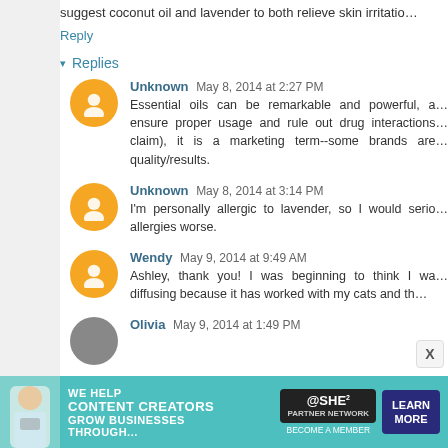suggest coconut oil and lavender to both relieve skin irritatio…
Reply
Replies
Unknown May 8, 2014 at 2:27 PM
Essential oils can be remarkable and powerful, a… ensure proper usage and rule out drug interactions… claim), it is a marketing term--some brands are… quality/results.
Unknown May 8, 2014 at 3:14 PM
I'm personally allergic to lavender, so I would serio… allergies worse.
Wendy May 9, 2014 at 9:49 AM
Ashley, thank you! I was beginning to think I wa… diffusing because it has worked with my cats and th…
Olivia May 9, 2014 at 1:49 PM
[Figure (infographic): SHE Partner Network advertisement banner: 'We help content creators grow businesses through...' with Learn More button]